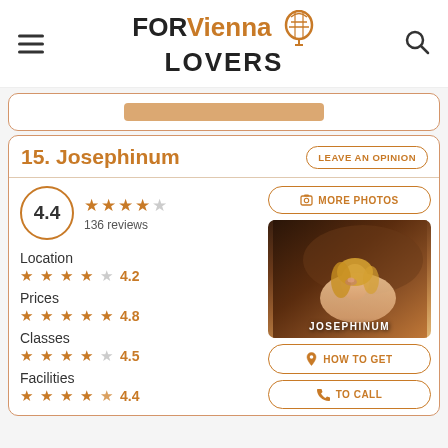FOR Vienna LOVERS
15. Josephinum
LEAVE AN OPINION
4.4 — 136 reviews
Location 4.2
Prices 4.8
Classes 4.5
Facilities 4.4
[Figure (photo): Photo of Josephinum venue showing a classical painting or sculpture with a figure.]
MORE PHOTOS
HOW TO GET
TO CALL